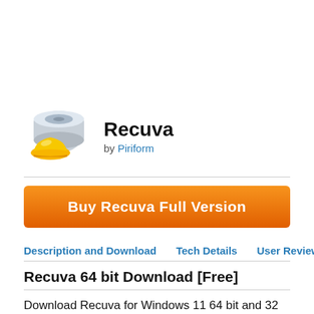[Figure (logo): Recuva app icon: hard drive with yellow hard hat]
Recuva
by Piriform
Buy Recuva Full Version
Description and Download   Tech Details   User Reviews
Recuva 64 bit Download [Free]
Download Recuva for Windows 11 64 bit and 32 bit. Install Recuva latest (2022) full setup on your PC and